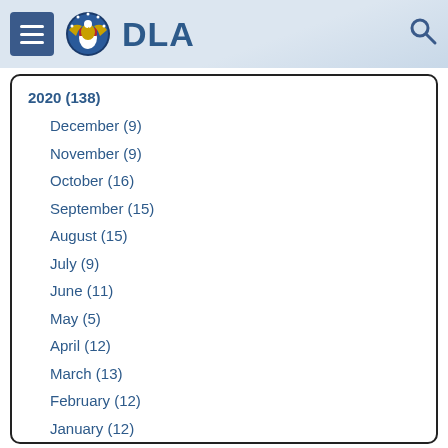DLA
2020 (138)
December (9)
November (9)
October (16)
September (15)
August (15)
July (9)
June (11)
May (5)
April (12)
March (13)
February (12)
January (12)
2019 (220)
2018 (195)
2017 (205)
2016 (300)
2015 (63)